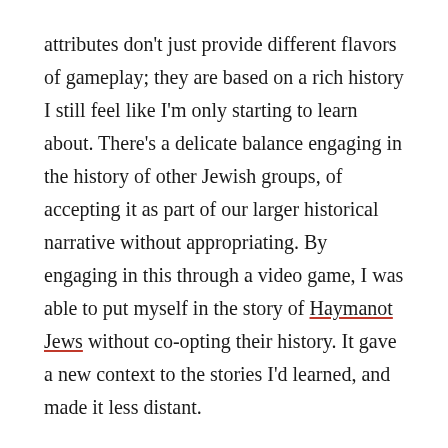attributes don't just provide different flavors of gameplay; they are based on a rich history I still feel like I'm only starting to learn about. There's a delicate balance engaging in the history of other Jewish groups, of accepting it as part of our larger historical narrative without appropriating. By engaging in this through a video game, I was able to put myself in the story of Haymanot Jews without co-opting their history. It gave a new context to the stories I'd learned, and made it less distant.

We all remember that we suffered. It's been the bulk of my Jewish history education. What this game clarifies is that the suffering isn't the interesting part, it's the life